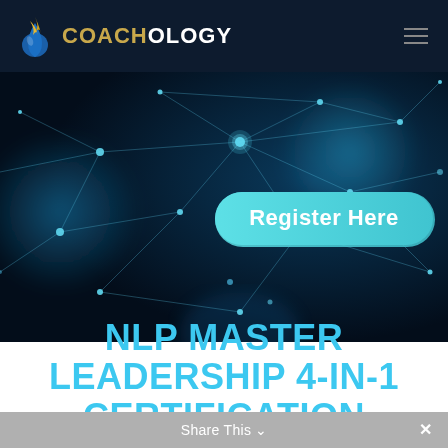COACHOLOGY
[Figure (screenshot): Dark blue tech/network background with glowing nodes and connecting lines, featuring a teal 'Register Here' pill-shaped button in the center]
NLP MASTER LEADERSHIP 4-IN-1 CERTIFICATION
Share This ∨  ✕